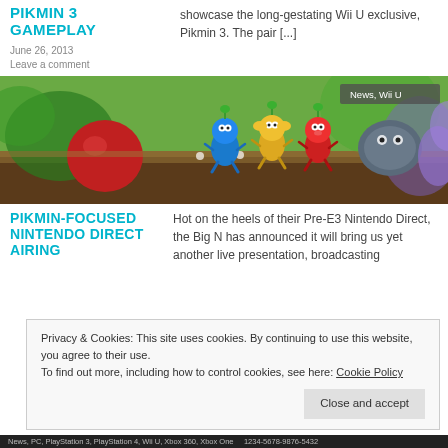PIKMIN 3 GAMEPLAY
showcase the long-gestating Wii U exclusive, Pikmin 3. The pair [...]
June 26, 2013
Leave a comment
[Figure (photo): Pikmin 3 characters — blue, yellow, and red Pikmin standing on a log in a natural garden scene. A red bulb and a rock creature visible. News, Wii U badge in top-right corner.]
PIKMIN-FOCUSED NINTENDO DIRECT AIRING
Hot on the heels of their Pre-E3 Nintendo Direct, the Big N has announced it will bring us yet another live presentation, broadcasting
Privacy & Cookies: This site uses cookies. By continuing to use this website, you agree to their use.
To find out more, including how to control cookies, see here: Cookie Policy
Close and accept
News, PC, PlayStation 3, PlayStation 4, Wii U, Xbox 360, Xbox One   1234-5678-9876-5432